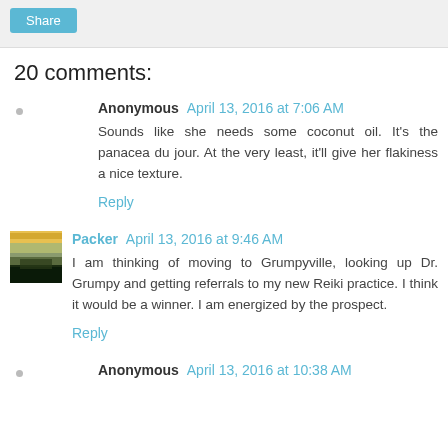Share
20 comments:
Anonymous April 13, 2016 at 7:06 AM
Sounds like she needs some coconut oil. It's the panacea du jour. At the very least, it'll give her flakiness a nice texture.
Reply
Packer April 13, 2016 at 9:46 AM
I am thinking of moving to Grumpyville, looking up Dr. Grumpy and getting referrals to my new Reiki practice. I think it would be a winner. I am energized by the prospect.
Reply
Anonymous April 13, 2016 at 10:38 AM